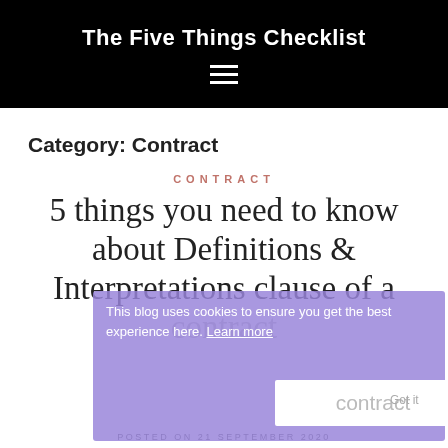The Five Things Checklist
Category: Contract
CONTRACT
5 things you need to know about Definitions & Interpretations clause of a contract
This blog uses cookies to ensure you get the best experience here. Learn more
Got it
POSTED ON 21 SEPTEMBER 2020